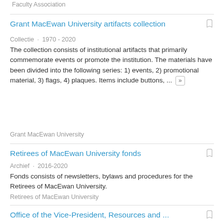Faculty Association
Grant MacEwan University artifacts collection
Collectie · 1970 - 2020
The collection consists of institutional artifacts that primarily commemorate events or promote the institution. The materials have been divided into the following series: 1) events, 2) promotional material, 3) flags, 4) plaques. Items include buttons, ... »
Grant MacEwan University
Retirees of MacEwan University fonds
Archief · 2016-2020
Fonds consists of newsletters, bylaws and procedures for the Retirees of MacEwan University.
Retirees of MacEwan University
Office of the Vice-President, Resources and ...
Archief · 2017-2020
Fonds consists of minutes, reports, course and program evaluations, budgets, financial statements and collective agreements.
Office of the Vice-President, Resources and People